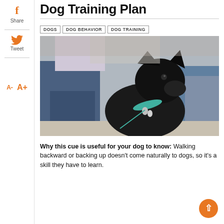Dog Training Plan
DOGS
DOG BEHAVIOR
DOG TRAINING
[Figure (photo): A black dog with a teal collar and tags sitting and looking up, surrounded by the legs of people in jeans]
Why this cue is useful for your dog to know: Walking backward or backing up doesn't come naturally to dogs, so it's a skill they have to learn.